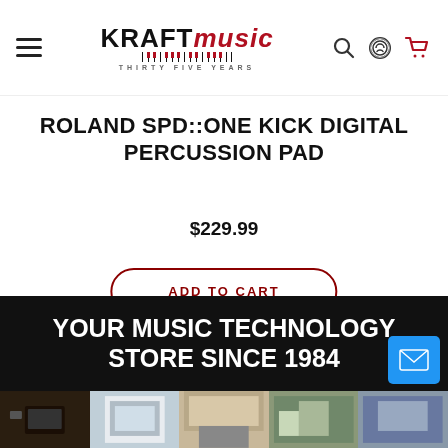Kraft Music — THIRTY FIVE YEARS
ROLAND SPD::ONE KICK DIGITAL PERCUSSION PAD
$229.99
ADD TO CART
YOUR MUSIC TECHNOLOGY STORE SINCE 1984
[Figure (photo): Row of store/location photos at bottom of page]